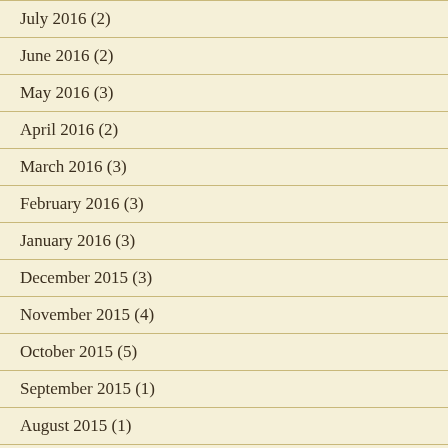July 2016 (2)
June 2016 (2)
May 2016 (3)
April 2016 (2)
March 2016 (3)
February 2016 (3)
January 2016 (3)
December 2015 (3)
November 2015 (4)
October 2015 (5)
September 2015 (1)
August 2015 (1)
June 2015 (2)